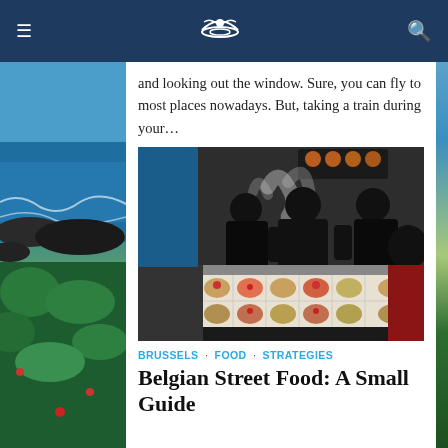Navigation bar with menu, logo, and search icons
and looking out the window. Sure, you can fly to most places nowadays. But, taking a train during your…
[Figure (photo): People looking at a busy street food market stall with trays of food and cooks working in the background, steam rising]
BRUSSELS · FOOD · STRATEGIES
Belgian Street Food: A Small Guide